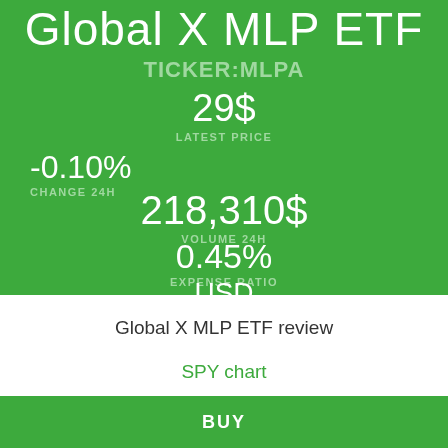Global X MLP ETF
TICKER:MLPA
29$
LATEST PRICE
-0.10%
CHANGE 24H
218,310$
VOLUME 24H
0.45%
EXPENSE RATIO
USD
CURRENCY
Global X MLP ETF review
SPY chart
FAQ
BUY